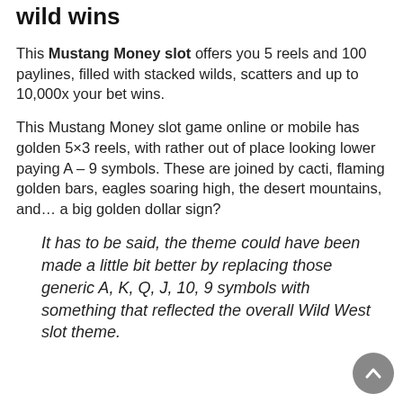Sunset sets the scene for flaming wild wins
This Mustang Money slot offers you 5 reels and 100 paylines, filled with stacked wilds, scatters and up to 10,000x your bet wins.
This Mustang Money slot game online or mobile has golden 5×3 reels, with rather out of place looking lower paying A – 9 symbols. These are joined by cacti, flaming golden bars, eagles soaring high, the desert mountains, and… a big golden dollar sign?
It has to be said, the theme could have been made a little bit better by replacing those generic A, K, Q, J, 10, 9 symbols with something that reflected the overall Wild West slot theme.